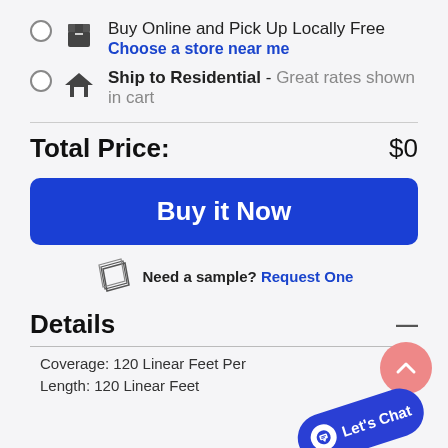Buy Online and Pick Up Locally Free — Choose a store near me
Ship to Residential - Great rates shown in cart
Total Price: $0
Buy it Now
Need a sample? Request One
Details
Coverage: 120 Linear Feet Per
Length: 120 Linear Feet